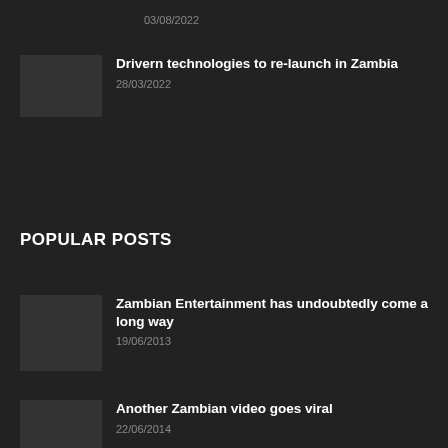03/08/2022
Drivern technologies to re-launch in Zambia
28/03/2022
POPULAR POSTS
Zambian Entertainment has undoubtedly come a long way
19/06/2013
Another Zambian video goes viral
22/06/2014